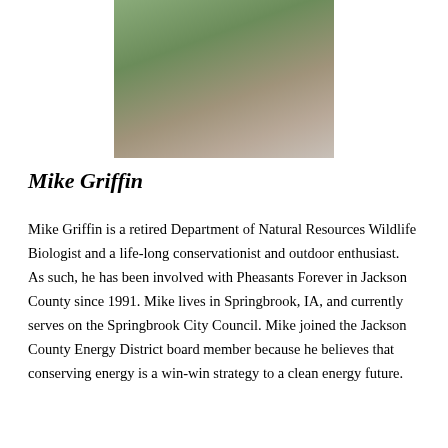[Figure (photo): Partial photo of a person wearing a gray t-shirt, cropped at the torso, with a green outdoor background]
Mike Griffin
Mike Griffin is a retired Department of Natural Resources Wildlife Biologist and a life-long conservationist and outdoor enthusiast. As such, he has been involved with Pheasants Forever in Jackson County since 1991. Mike lives in Springbrook, IA, and currently serves on the Springbrook City Council. Mike joined the Jackson County Energy District board member because he believes that conserving energy is a win-win strategy to a clean energy future.